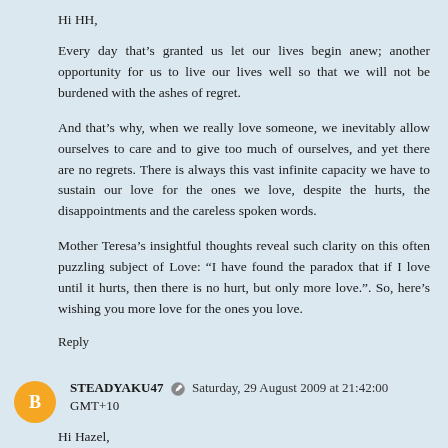Hi HH,
Every day that’s granted us let our lives begin anew; another opportunity for us to live our lives well so that we will not be burdened with the ashes of regret.
And that’s why, when we really love someone, we inevitably allow ourselves to care and to give too much of ourselves, and yet there are no regrets. There is always this vast infinite capacity we have to sustain our love for the ones we love, despite the hurts, the disappointments and the careless spoken words.
Mother Teresa’s insightful thoughts reveal such clarity on this often puzzling subject of Love: “I have found the paradox that if I love until it hurts, then there is no hurt, but only more love.”. So, here’s wishing you more love for the ones you love.
Reply
STEADYAKU47   Saturday, 29 August 2009 at 21:42:00 GMT+10
Hi Hazel,